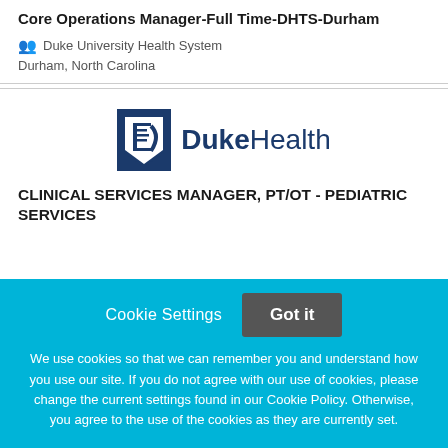Core Operations Manager-Full Time-DHTS-Durham
Duke University Health System
Durham, North Carolina
[Figure (logo): Duke Health logo with shield icon and bold text 'DukeHealth' in navy blue]
CLINICAL SERVICES MANAGER, PT/OT - PEDIATRIC SERVICES
Cookie Settings  Got it

We use cookies so that we can remember you and understand how you use our site. If you do not agree with our use of cookies, please change the current settings found in our Cookie Policy. Otherwise, you agree to the use of the cookies as they are currently set.